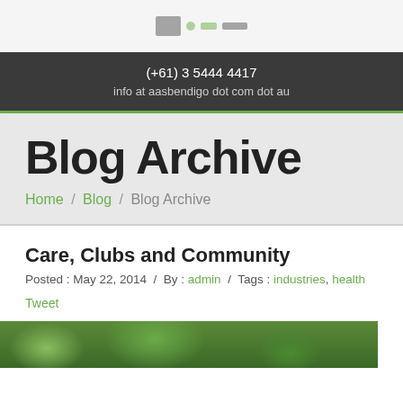(+61) 3 5444 4417 / info at aasbendigo dot com dot au
Blog Archive
Home / Blog / Blog Archive
Care, Clubs and Community
Posted : May 22, 2014 / By : admin / Tags : industries, health
Tweet
[Figure (photo): A green outdoor nature/tree photograph shown as a strip at the bottom of the page]